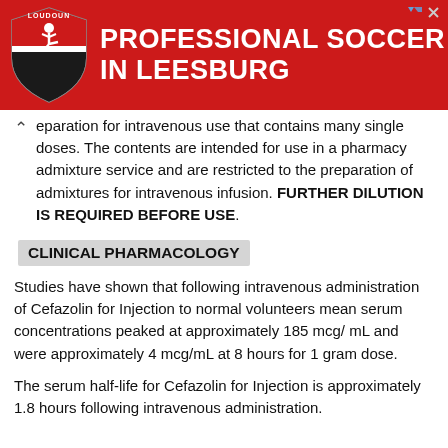[Figure (illustration): Advertisement banner for Loudoun Soccer - Professional Soccer in Leesburg, featuring a red background with a shield logo and bold white text]
eparation for intravenous use that contains many single doses. The contents are intended for use in a pharmacy admixture service and are restricted to the preparation of admixtures for intravenous infusion. FURTHER DILUTION IS REQUIRED BEFORE USE.
CLINICAL PHARMACOLOGY
Studies have shown that following intravenous administration of Cefazolin for Injection to normal volunteers mean serum concentrations peaked at approximately 185 mcg/ mL and were approximately 4 mcg/mL at 8 hours for 1 gram dose.
The serum half-life for Cefazolin for Injection is approximately 1.8 hours following intravenous administration.